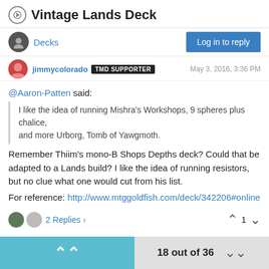Vintage Lands Deck
Decks
Log in to reply
jimmycolorado TMD SUPPORTER May 3, 2016, 3:36 PM
@Aaron-Patten said:
I like the idea of running Mishra's Workshops, 9 spheres plus chalice, and more Urborg, Tomb of Yawgmoth.
Remember Thiim's mono-B Shops Depths deck? Could that be adapted to a Lands build? I like the idea of running resistors, but no clue what one would cut from his list.
For reference: http://www.mtggoldfish.com/deck/342206#online
2 Replies
1
18 out of 36